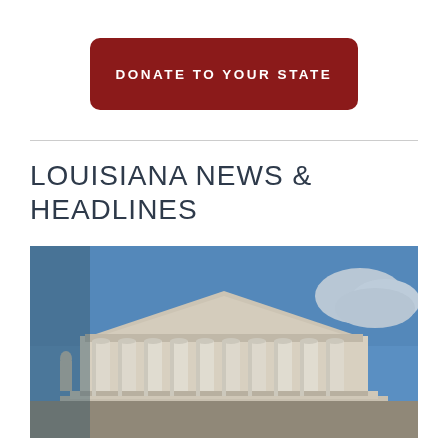[Figure (other): Red rounded rectangle button with text 'DONATE TO YOUR STATE' in white uppercase letters]
LOUISIANA NEWS & HEADLINES
[Figure (photo): Photo of the United States Supreme Court building facade showing classical columns and pediment against a blue sky with clouds]